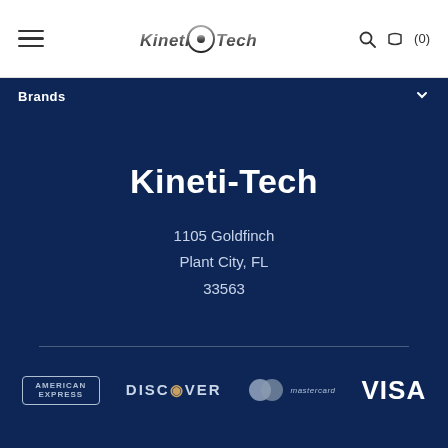[Figure (logo): Kineti-Tech logo with metallic stylized text and crosshair/scope icon in center]
Brands
Kineti-Tech
1105 Goldfinch
Plant City, FL
33563
[Figure (logo): Payment method logos: American Express, Discover, Mastercard, Visa]